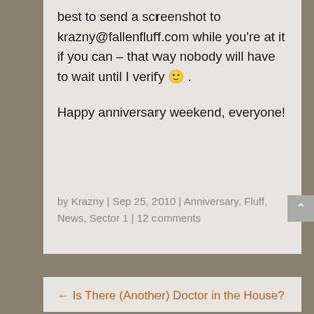best to send a screenshot to krazny@fallenfluff.com while you're at it if you can – that way nobody will have to wait until I verify 🙂 .
Happy anniversary weekend, everyone!
by Krazny | Sep 25, 2010 | Anniversary, Fluff, News, Sector 1 | 12 comments
← Is There (Another) Doctor in the House?